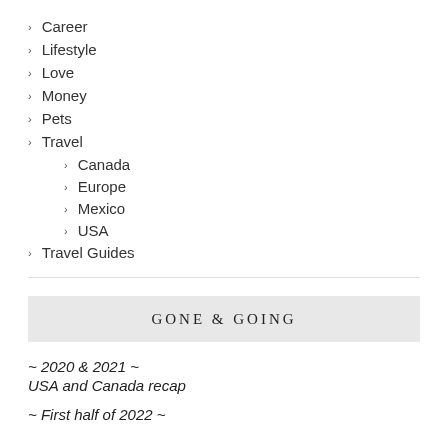> Career
> Lifestyle
> Love
> Money
> Pets
> Travel
> Canada
> Europe
> Mexico
> USA
> Travel Guides
GONE & GOING
~ 2020 & 2021 ~
USA and Canada recap
~ First half of 2022 ~